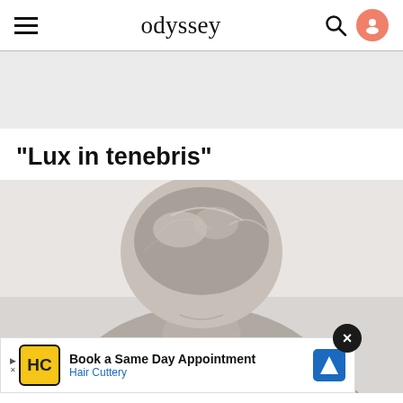odyssey
[Figure (other): Gray advertisement/banner placeholder area]
“Lux in tenebris”
[Figure (photo): Black and white photo of the back of a person's head and neck with hair loosely up]
Book a Same Day Appointment
Hair Cuttery